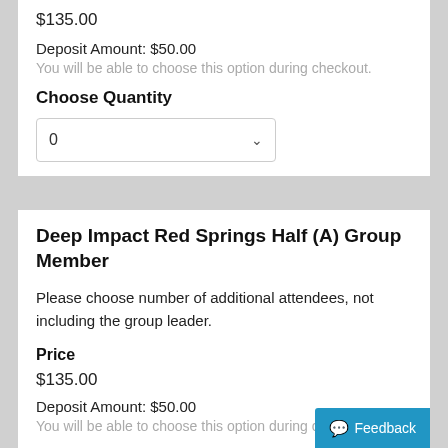$135.00
Deposit Amount: $50.00
You will be able to choose this option during checkout.
Choose Quantity
0
Deep Impact Red Springs Half (A) Group Member
Please choose number of additional attendees, not including the group leader.
Price
$135.00
Deposit Amount: $50.00
You will be able to choose this option during checkout.
Choose Quantity
0